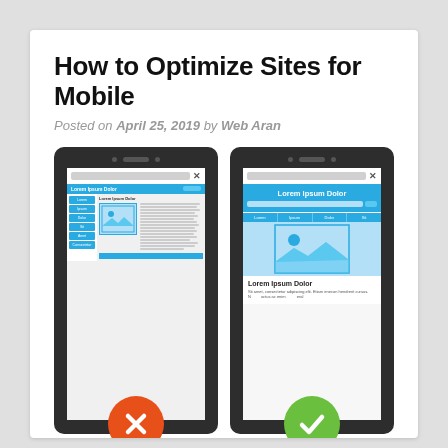How to Optimize Sites for Mobile
Posted on April 25, 2019 by Web Aran
[Figure (illustration): Two smartphone mockups side by side. Left phone shows a non-mobile-optimized website with sidebar navigation, small text, and desktop layout — marked with a red X badge. Right phone shows a mobile-optimized website with large header, search bar, tab navigation, large image and readable text — marked with a green checkmark badge.]